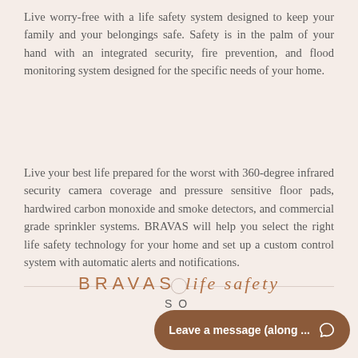Live worry-free with a life safety system designed to keep your family and your belongings safe. Safety is in the palm of your hand with an integrated security, fire prevention, and flood monitoring system designed for the specific needs of your home.
Live your best life prepared for the worst with 360-degree infrared security camera coverage and pressure sensitive floor pads, hardwired carbon monoxide and smoke detectors, and commercial grade sprinkler systems. BRAVAS will help you select the right life safety technology for your home and set up a custom control system with automatic alerts and notifications.
BRAVAS life safety SOLUTIONS
Leave a message (along ...